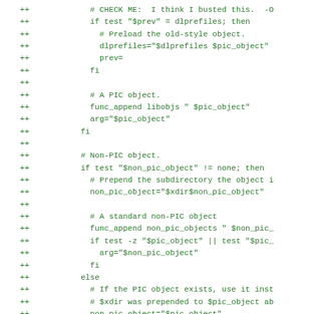Code diff showing shell script modifications with ++ markers, including checks for PIC and non-PIC objects, dlprefiles handling, func_append calls, and conditional logic.